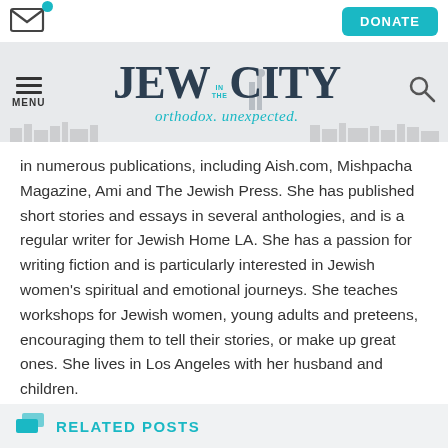[Figure (screenshot): Website header navigation: email icon with teal notification badge on left, DONATE button in teal on right]
[Figure (logo): Jew in the City logo with tagline 'orthodox. unexpected.' in teal script, city skyline silhouette background, hamburger menu on left, search icon on right]
in numerous publications, including Aish.com, Mishpacha Magazine, Ami and The Jewish Press. She has published short stories and essays in several anthologies, and is a regular writer for Jewish Home LA. She has a passion for writing fiction and is particularly interested in Jewish women's spiritual and emotional journeys. She teaches workshops for Jewish women, young adults and preteens, encouraging them to tell their stories, or make up great ones. She lives in Los Angeles with her husband and children.
RELATED POSTS